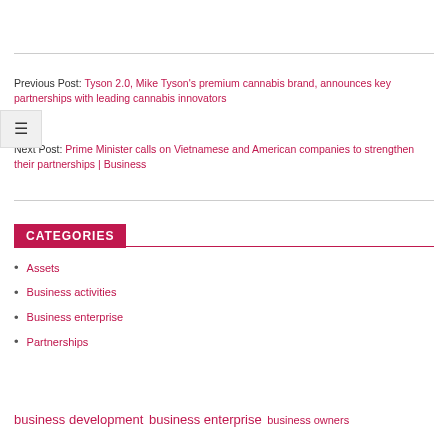Previous Post: Tyson 2.0, Mike Tyson's premium cannabis brand, announces key partnerships with leading cannabis innovators
Next Post: Prime Minister calls on Vietnamese and American companies to strengthen their partnerships | Business
CATEGORIES
Assets
Business activities
Business enterprise
Partnerships
business development  business enterprise  business owners